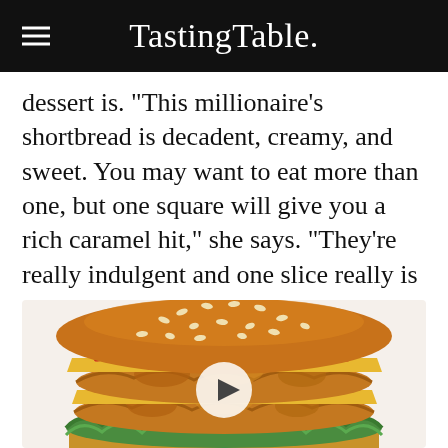Tasting Table.
dessert is. "This millionaire's shortbread is decadent, creamy, and sweet. You may want to eat more than one, but one square will give you a rich caramel hit," she says. "They're really indulgent and one slice really is plenty!"
[Figure (photo): A large fried chicken burger with sesame seed bun, crispy chicken, cheese slices, ketchup, and green lettuce on a white background. A video play button is overlaid in the center.]